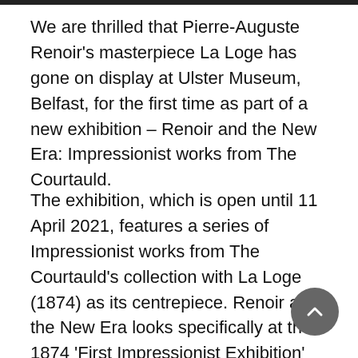We are thrilled that Pierre-Auguste Renoir's masterpiece La Loge has gone on display at Ulster Museum, Belfast, for the first time as part of a new exhibition – Renoir and the New Era: Impressionist works from The Courtauld.
The exhibition, which is open until 11 April 2021, features a series of Impressionist works from The Courtauld's collection with La Loge (1874) as its centrepiece. Renoir and the New Era looks specifically at the 1874 'First Impressionist Exhibition' that featured La Loge and how the painting